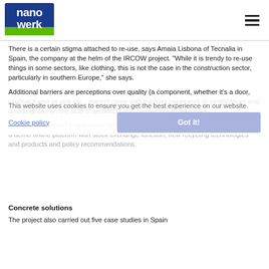nanowerk [logo] [hamburger menu]
There is a certain stigma attached to re-use, says Amaia Lisbona of Tecnalia in Spain, the company at the helm of the IRCOW project. “While it is trendy to re-use things in some sectors, like clothing, this is not the case in the construction sector, particularly in southern Europe,” she says.
Additional barriers are perceptions over quality (a component, whether it’s a door, window frame or sink etc., doesn’t come with tracking paperwork or certification) and unwillingness on the side of architects and contractors to take risks.
The IRCOW project prepared the ground for take-up with a study on these barriers, a demo online platform with stock exchange function, new recycling technologies and products and policy recommendations.
Concrete solutions
The project also carried out five case studies in Spain
This website uses cookies to ensure you get the best experience on our website.
Cookie policy
Got it!